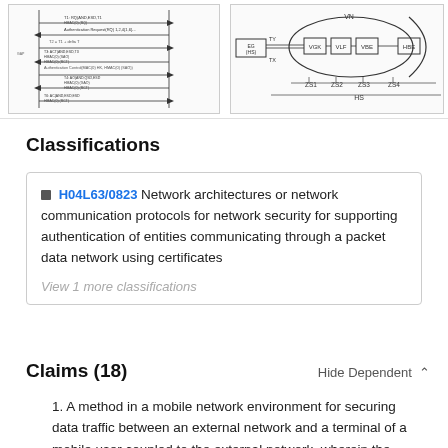[Figure (schematic): Left schematic diagram showing authentication protocol message flow with labeled arrows and timing annotations]
[Figure (schematic): Right network architecture diagram showing EG(HS), VGK, VLF, VBE, HBE nodes connected within VN ellipse, with zones ZS1, ZS2, ZS3, ZS4 and HS baseline]
Classifications
H04L63/0823  Network architectures or network communication protocols for network security for supporting authentication of entities communicating through a packet data network using certificates
View 1 more classifications
Claims (18)
Hide Dependent ∧
1. A method in a mobile network environment for securing data traffic between an external network and a terminal of a mobile user coupled to the external network, wherein the mobile user can be authenticated in a home location network by way of a private home location key pair, the method which comprises: